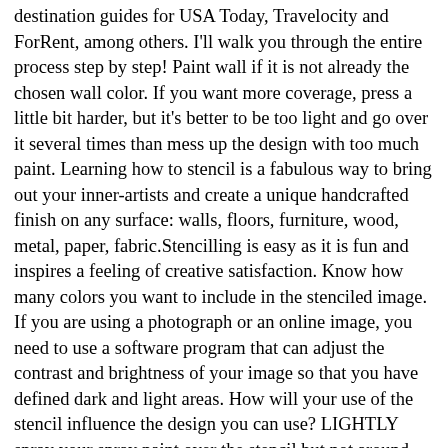destination guides for USA Today, Travelocity and ForRent, among others. I'll walk you through the entire process step by step! Paint wall if it is not already the chosen wall color. If you want more coverage, press a little bit harder, but it's better to be too light and go over it several times than mess up the design with too much paint. Learning how to stencil is a fabulous way to bring out your inner-artists and create a unique handcrafted finish on any surface: walls, floors, furniture, wood, metal, paper, fabric.Stencilling is easy as it is fun and inspires a feeling of creative satisfaction. Know how many colors you want to include in the stenciled image. If you are using a photograph or an online image, you need to use a software program that can adjust the contrast and brightness of your image so that you have defined dark and light areas. How will your use of the stencil influence the design you can use? LIGHTLY spray your spray paint over the stencil but not around the edges. This may be the most time-consuming portion of the process. Rather than using the run-of-the-mill stencils found in office supply or craft stores, scrounge through items destined for the recycle bin or storage trunk for surprising stencil materials that create unusually detailed designs. Thanks! The secrets is in the paint you use Determine what size of stencil you need. Make sure that your current design will work as a stencil. Make sure the surface of the wall is clean and dry for a smooth finish . Here are the steps to apply a stencil. Make sure the wall is smooth without a texture. When I started to plan out my home office, I knew I